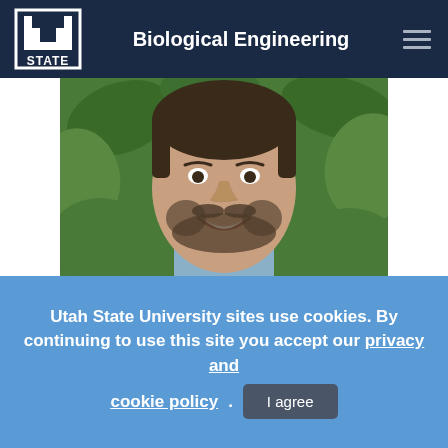Biological Engineering
[Figure (photo): Headshot of a smiling man with short dark hair and beard, wearing a light blue collared shirt, with green leafy background]
Utah State University sites use cookies. By continuing to use this site you accept our privacy and cookie policy. I agree